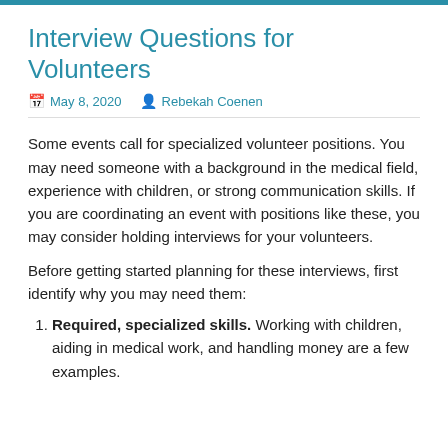Interview Questions for Volunteers
May 8, 2020   Rebekah Coenen
Some events call for specialized volunteer positions. You may need someone with a background in the medical field, experience with children, or strong communication skills. If you are coordinating an event with positions like these, you may consider holding interviews for your volunteers.
Before getting started planning for these interviews, first identify why you may need them:
Required, specialized skills. Working with children, aiding in medical work, and handling money are a few examples.